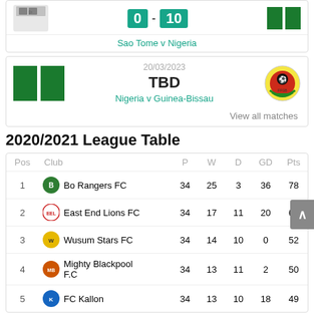[Figure (screenshot): Match result card: Sao Tome v Nigeria, score 0-10]
Sao Tome v Nigeria
[Figure (screenshot): Upcoming match card: Nigeria v Guinea-Bissau, date 20/03/2023, score TBD]
20/03/2023
TBD
Nigeria v Guinea-Bissau
View all matches
2020/2021 League Table
| Pos | Club | P | W | D | GD | Pts |
| --- | --- | --- | --- | --- | --- | --- |
| 1 | Bo Rangers FC | 34 | 25 | 3 | 36 | 78 |
| 2 | East End Lions FC | 34 | 17 | 11 | 20 | 62 |
| 3 | Wusum Stars FC | 34 | 14 | 10 | 0 | 52 |
| 4 | Mighty Blackpool F.C | 34 | 13 | 11 | 2 | 50 |
| 5 | FC Kallon | 34 | 13 | 10 | 18 | 49 |